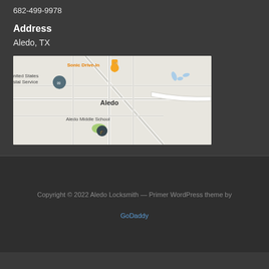682-499-9978
Address
Aledo, TX
[Figure (map): Google Maps screenshot showing Aledo, TX area with Sonic Drive-In, United States Postal Service, Aledo Middle School markers]
Copyright © 2022 Aledo Locksmith — Primer WordPress theme by GoDaddy